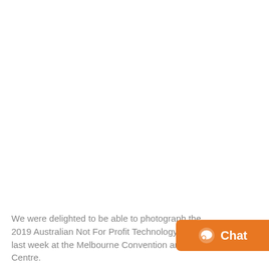We were delighted to be able to photograph the 2019 Australian Not For Profit Technology Awards last week at the Melbourne Convention and Exhibition Centre.
[Figure (other): Orange chat button with speech bubble icon and 'Chat' label in white text, positioned at bottom right]